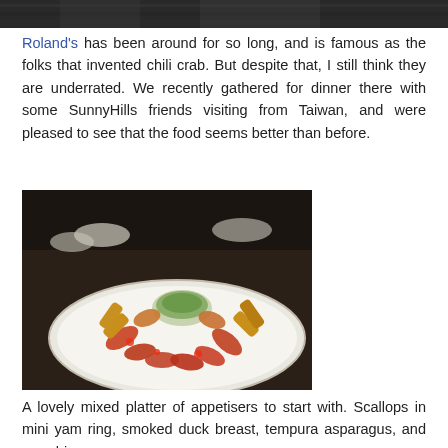[Figure (photo): Dark top banner image, partially cropped photo of restaurant setting]
Roland's has been around for so long, and is famous as the folks that invented chili crab. But despite that, I still think they are underrated. We recently gathered for dinner there with some SunnyHills friends visiting from Taiwan, and were pleased to see that the food seems better than before.
[Figure (photo): A large white plate with a beautifully arranged mixed platter of appetisers including scallops in mini yam ring, smoked duck breast, tempura asparagus, and wasabi prawns, photographed in a restaurant setting.]
A lovely mixed platter of appetisers to start with. Scallops in mini yam ring, smoked duck breast, tempura asparagus, and wasabi prawns.